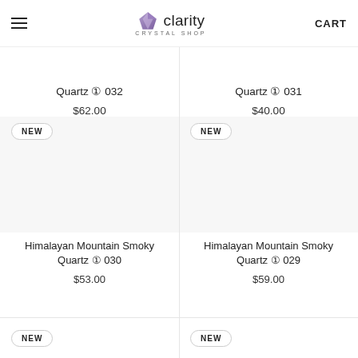clarity CRYSTAL SHOP | CART
Quartz ① 032
$62.00
Quartz ① 031
$40.00
[Figure (photo): Product image area for Himalayan Mountain Smoky Quartz 030, white/blank]
[Figure (photo): Product image area for Himalayan Mountain Smoky Quartz 029, white/blank]
Himalayan Mountain Smoky Quartz ① 030
$53.00
Himalayan Mountain Smoky Quartz ① 029
$59.00